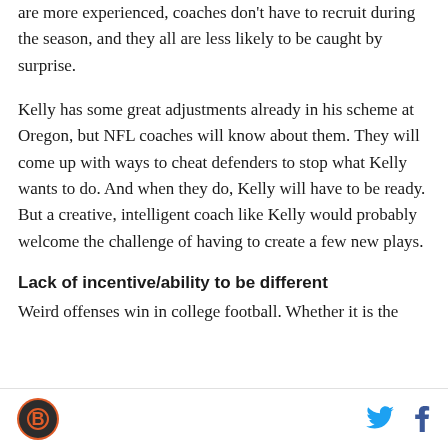are more experienced, coaches don't have to recruit during the season, and they all are less likely to be caught by surprise.
Kelly has some great adjustments already in his scheme at Oregon, but NFL coaches will know about them. They will come up with ways to cheat defenders to stop what Kelly wants to do. And when they do, Kelly will have to be ready. But a creative, intelligent coach like Kelly would probably welcome the challenge of having to create a few new plays.
Lack of incentive/ability to be different
Weird offenses win in college football. Whether it is the